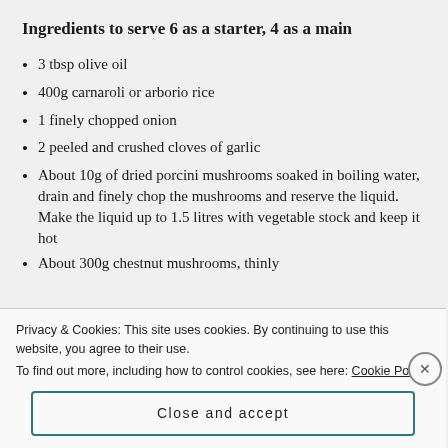Ingredients to serve 6 as a starter, 4 as a main
3 tbsp olive oil
400g carnaroli or arborio rice
1 finely chopped onion
2 peeled and crushed cloves of garlic
About 10g of dried porcini mushrooms soaked in boiling water, drain and finely chop the mushrooms and reserve the liquid. Make the liquid up to 1.5 litres with vegetable stock and keep it hot
About 300g chestnut mushrooms, thinly
Privacy & Cookies: This site uses cookies. By continuing to use this website, you agree to their use.
To find out more, including how to control cookies, see here: Cookie Policy
Close and accept